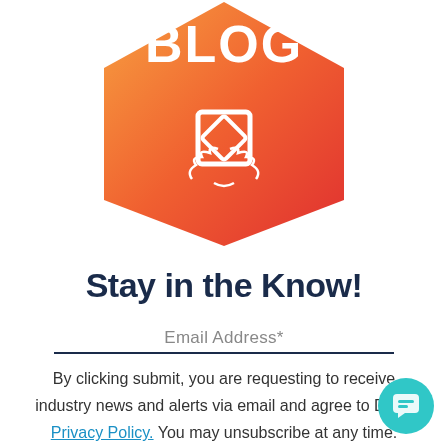[Figure (logo): Hexagonal badge with orange-to-red gradient background, white text 'BLOG' at top, white diamond/chain link icon in center with laurel wreath below]
Stay in the Know!
Email Address*
By clicking submit, you are requesting to receive industry news and alerts via email and agree to DCI's Privacy Policy. You may unsubscribe at any time.